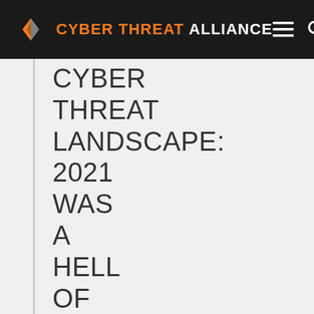[Figure (logo): Cyber Threat Alliance logo and navigation bar with hamburger menu and search icon on dark background]
CYBER THREAT LANDSCAPE: 2021 WAS A HELL OF A RIDE – 2022